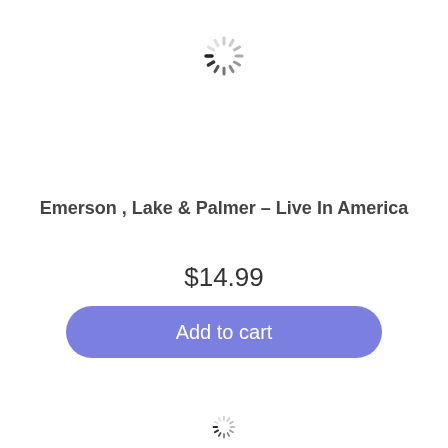[Figure (other): Loading spinner icon (circular dashed/tick spinner) at top center of page]
Emerson , Lake & Palmer – Live In America
$14.99
Add to cart
[Figure (other): Loading spinner icon (circular dashed/tick spinner) at bottom center of page, partially visible]